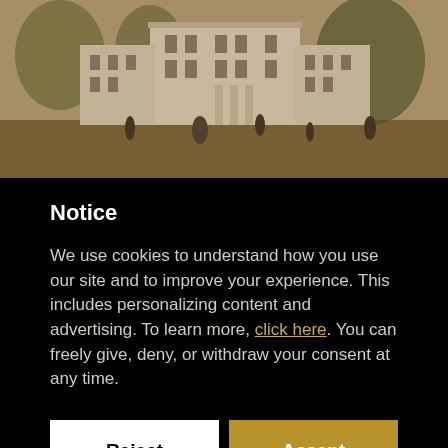[Figure (photo): Sepia-toned historical photograph of a large mansion or country house with people on the lawn, trees in background]
Notice
We use cookies to understand how you use our site and to improve your experience. This includes personalizing content and advertising. To learn more, click here. You can freely give, deny, or withdraw your consent at any time.
Reject
Accept
Learn more and customize